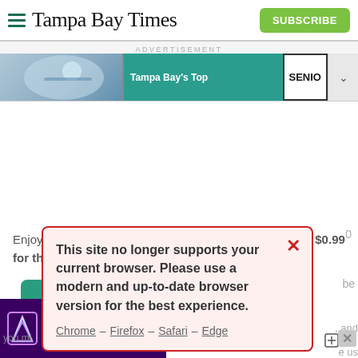Tampa Bay Times | SUBSCRIBE
ADVERTISEMENT
[Figure (screenshot): Ad banner showing Tampa Bay's Top text and SENIO text on right, with cycling/sports image on left]
This site no longer supports your current browser. Please use a modern and up-to-date browser version for the best experience.
Chrome – Firefox – Safari – Edge
Enjoy unlimited access to tampabay.com for only $11.75 $0.99 for the first month.
Subscribe
Log In
Interested in print delivery? Subscribe here →
[Figure (screenshot): Bottom ad banner: 42nd Annual Small Business of the Year Awards, SEP. 29, Adcock Financial Group and Vistra logos]